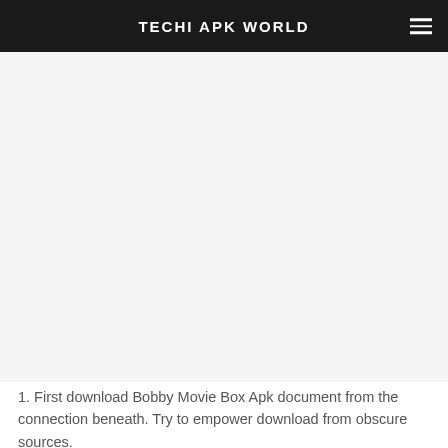TECHI APK WORLD
[Figure (other): Advertisement / blank ad area]
1. First download Bobby Movie Box Apk document from the connection beneath. Try to empower download from obscure sources.